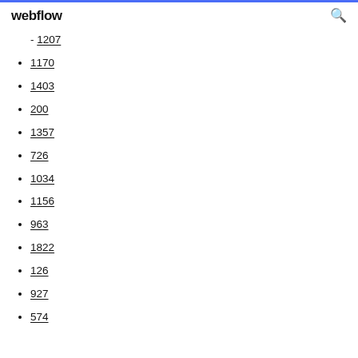webflow
1207
1170
1403
200
1357
726
1034
1156
963
1822
126
927
574